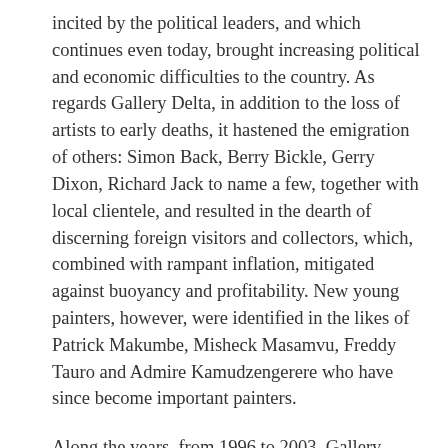incited by the political leaders, and which continues even today, brought increasing political and economic difficulties to the country. As regards Gallery Delta, in addition to the loss of artists to early deaths, it hastened the emigration of others: Simon Back, Berry Bickle, Gerry Dixon, Richard Jack to name a few, together with local clientele, and resulted in the dearth of discerning foreign visitors and collectors, which, combined with rampant inflation, mitigated against buoyancy and profitability. New young painters, however, were identified in the likes of Patrick Makumbe, Misheck Masamvu, Freddy Tauro and Admire Kamudzengerere who have since become important painters.
Along the years, from 1996 to 2003, Gallery Delta produced and published a visual art magazine under the title of ‘Gallery.’ This was a 32 page, four colour, glossy quarterly publication, funded for its latter six years by Hivos, and edited by Barbara Murray, and for a short